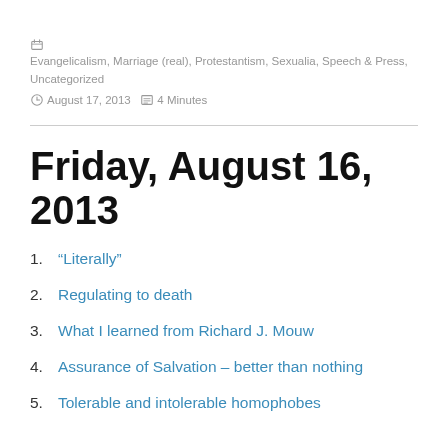Evangelicalism, Marriage (real), Protestantism, Sexualia, Speech & Press, Uncategorized | August 17, 2013 | 4 Minutes
Friday, August 16, 2013
“Literally”
Regulating to death
What I learned from Richard J. Mouw
Assurance of Salvation – better than nothing
Tolerable and intolerable homophobes